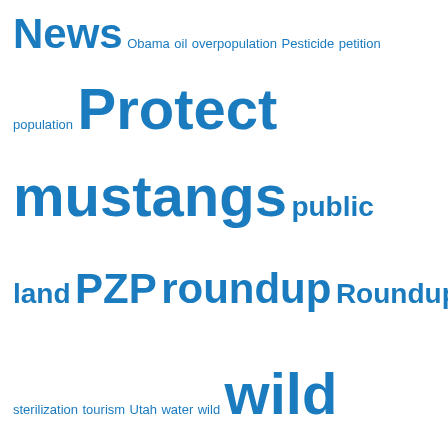News Obama oil overpopulation Pesticide petition population Protect mustangs public land PZP roundup Roundups slaughter sterilization tourism Utah water wild wild horses wildlife WY14 Wyoming
TRANSLATE
[Figure (other): Flag icons for English, French, German, Italian, Portuguese, Russian, Spanish language options with a Select Language dropdown]
Proudly powered by WordPress